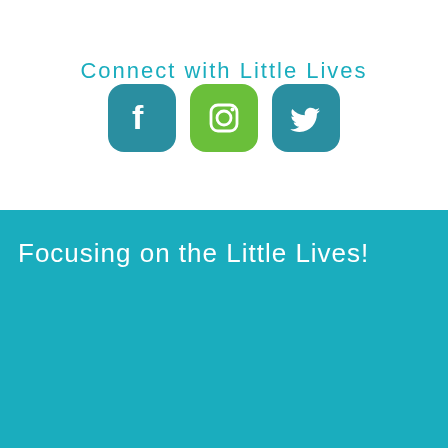Connect with Little Lives
[Figure (infographic): Three social media icons: Facebook (teal rounded square), Instagram (green rounded square), Twitter (teal rounded square)]
Focusing on the Little Lives!
[Figure (illustration): Two stylized child figures: one green (boy with arm raised) and one white (girl in dress), on teal background]